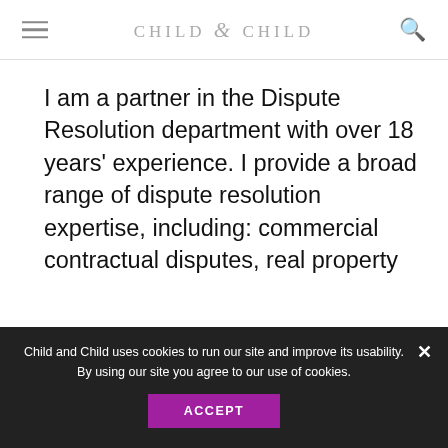CHILD & CHILD
I am a partner in the Dispute Resolution department with over 18 years' experience. I provide a broad range of dispute resolution expertise, including: commercial contractual disputes, real property disputes and landlord & tenant issues, employment, professional negligence, construction disputes, fraud and
Child and Child uses cookies to run our site and improve its usability. By using our site you agree to our use of cookies.
ACCEPT